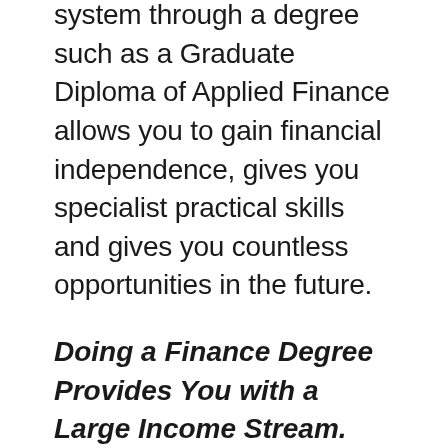system through a degree such as a Graduate Diploma of Applied Finance allows you to gain financial independence, gives you specialist practical skills and gives you countless opportunities in the future.
Doing a Finance Degree Provides You with a Large Income Stream.
Students who study finance are proven to have a high earning potential when compared to other degrees. Some might make the argument that just because a degree gives you the chance to earn more money, that fact alone doesn't mean that it is automatically a worthwhile course of action. However, what a large income stream allows you to do is to gain financial